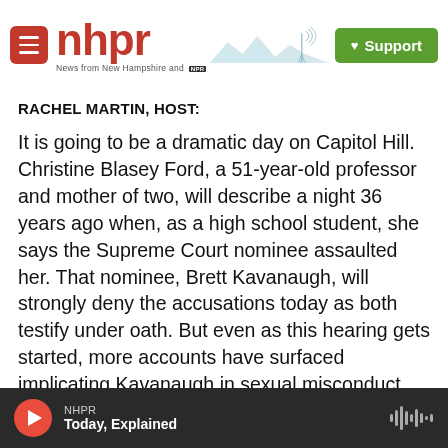nhpr — News from New Hampshire and NPR | Support
RACHEL MARTIN, HOST:
It is going to be a dramatic day on Capitol Hill. Christine Blasey Ford, a 51-year-old professor and mother of two, will describe a night 36 years ago when, as a high school student, she says the Supreme Court nominee assaulted her. That nominee, Brett Kavanaugh, will strongly deny the accusations today as both testify under oath. But even as this hearing gets started, more accounts have surfaced implicating Kavanaugh in sexual misconduct, including an anonymous letter accusing him of drunkenly assaulting a woman
NHPR — Today, Explained